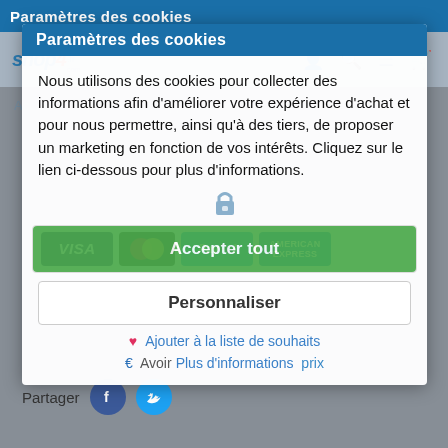Paramètres des cookies
[Figure (screenshot): Shop4.fr website header with logo and navigation icons (user, search, menu, cart)]
Nous utilisons des cookies pour collecter des informations afin d'améliorer votre expérience d'achat et pour nous permettre, ainsi qu'à des tiers, de proposer un marketing en fonction de vos intérêts. Cliquez sur le lien ci-dessous pour plus d'informations.
[Figure (screenshot): Cookie consent modal with 'Accepter tout' green button and 'Personnaliser' button, payment icons (VISA, Mastercard, PayPal, American Express), wishlist link, and plus d'informations link]
Partager
[Figure (screenshot): Social share buttons: Facebook and Twitter circular icons]